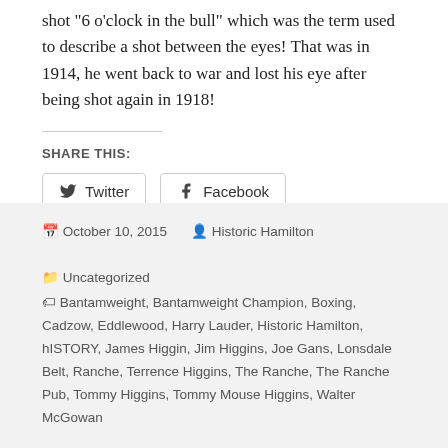shot "6 o'clock in the bull" which was the term used to describe a shot between the eyes! That was in 1914, he went back to war and lost his eye after being shot again in 1918!
SHARE THIS:
[Figure (other): Twitter and Facebook share buttons]
Loading...
October 10, 2015 · Historic Hamilton · Uncategorized · Bantamweight, Bantamweight Champion, Boxing, Cadzow, Eddlewood, Harry Lauder, Historic Hamilton, hISTORY, James Higgin, Jim Higgins, Joe Gans, Lonsdale Belt, Ranche, Terrence Higgins, The Ranche, The Ranche Pub, Tommy Higgins, Tommy Mouse Higgins, Walter McGowan